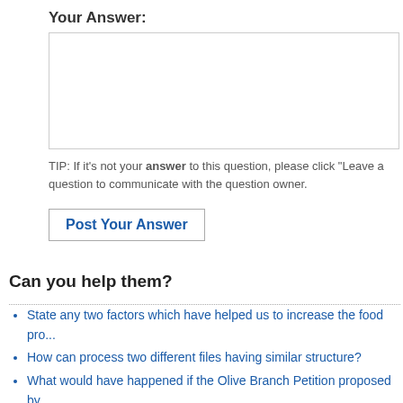Your Answer:
TIP: If it's not your answer to this question, please click "Leave a question to communicate with the question owner.
Post Your Answer
Can you help them?
State any two factors which have helped us to increase the food pro...
How can process two different files having similar structure?
What would have happened if the Olive Branch Petition proposed by Congress.
What happened to tarrifs during Cleveland's second presidency?
What happens when two copper plates are used as electrodes in the...
How many two input NAND gate is needed to represent a two input...
I us all get period on eighth but last two months on 13 th could I be p...
A vertical steel wire x is used to suspend load, a second wire y ma...